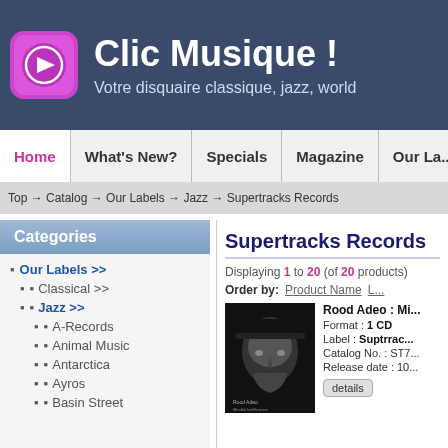Clic Musique ! Votre disquaire classique, jazz, world
Home | What's New? | Specials | Magazine | Our La...
Top → Catalog → Our Labels → Jazz → Supertracks Records
Categories
Our Labels >>
Classical >>
Jazz >>
A-Records
Animal Music
Antarctica
Ayros
Basin Street
Supertracks Records
Displaying 1 to 20 (of 20 products)
Order by: Product Name
[Figure (photo): Black and white close-up portrait of a man with a black hat, looking directly at the camera. Album cover for Rood Adeo : Mindful Indifference.]
Rood Adeo : Mi...
Format : 1 CD
Label : Suptrrac...
Catalog No. : ST7...
Release date : 10...
details